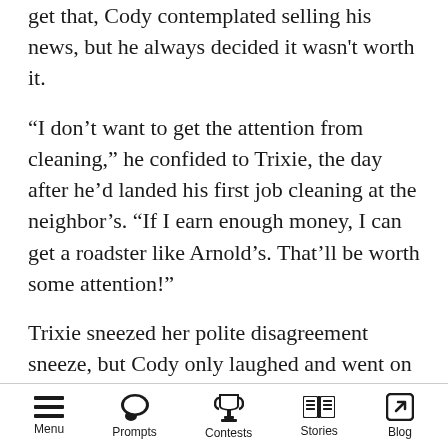get that, Cody contemplated selling his news, but he always decided it wasn't worth it.
“I don’t want to get the attention from cleaning,” he confided to Trixie, the day after he’d landed his first job cleaning at the neighbor’s. “If I earn enough money, I can get a roadster like Arnold’s. That’ll be worth some attention!”
Trixie sneezed her polite disagreement sneeze, but Cody only laughed and went on to the next house. Because all it took was a round of snaps, he could tidy the entire street in an hour or two. Soon, his business expanded beyond Gambit Lane—he cleaned everything from retirement cottages to high-class villas, and the villa owners
Menu   Prompts   Contests   Stories   Blog